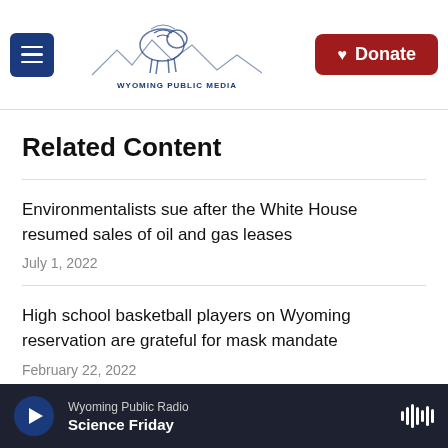Wyoming Public Media
Related Content
Environmentalists sue after the White House resumed sales of oil and gas leases
July 1, 2022
High school basketball players on Wyoming reservation are grateful for mask mandate
February 22, 2022
Wyoming Public Radio | Science Friday